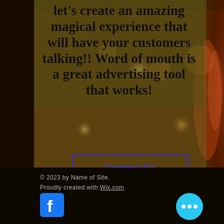[Figure (photo): Blurred bokeh restaurant/bar background photo with warm amber and golden lights, showing a wine glass on the right side. Semi-transparent olive/khaki overlay on left portion.]
let's create an amazing magical experience that will have your customers talking!! Word of mouth is a great advertising tool that works!
Contact Us
© 2023 by Name of Site. Proudly created with Wix.com